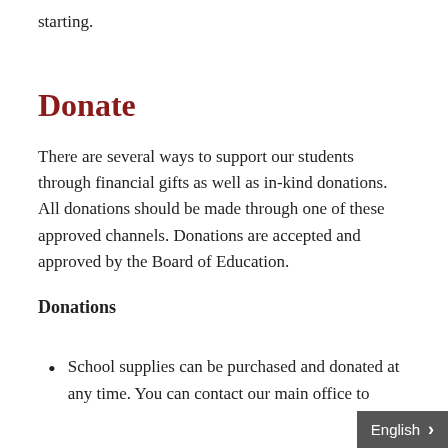starting.
Donate
There are several ways to support our students through financial gifts as well as in-kind donations. All donations should be made through one of these approved channels. Donations are accepted and approved by the Board of Education.
Donations
School supplies can be purchased and donated at any time. You can contact our main office to
English >